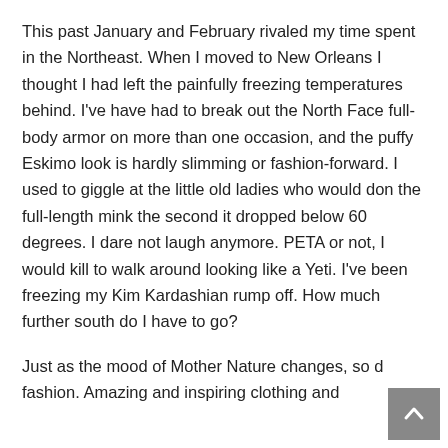This past January and February rivaled my time spent in the Northeast. When I moved to New Orleans I thought I had left the painfully freezing temperatures behind. I've have had to break out the North Face full-body armor on more than one occasion, and the puffy Eskimo look is hardly slimming or fashion-forward. I used to giggle at the little old ladies who would don the full-length mink the second it dropped below 60 degrees. I dare not laugh anymore. PETA or not, I would kill to walk around looking like a Yeti. I've been freezing my Kim Kardashian rump off. How much further south do I have to go?
Just as the mood of Mother Nature changes, so does fashion. Amazing and inspiring clothing and